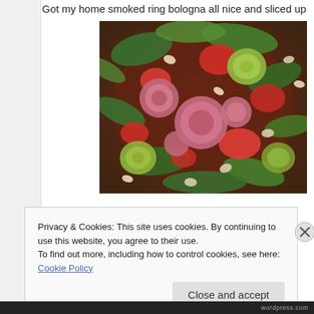Got my home smoked ring bologna all nice and sliced up
[Figure (photo): Close-up photo of a cooked dish containing sliced ring bologna sausage, spinach, zucchini, white beans, and tomatoes in a skillet or pan.]
Privacy & Cookies: This site uses cookies. By continuing to use this website, you agree to their use.
To find out more, including how to control cookies, see here: Cookie Policy
Close and accept